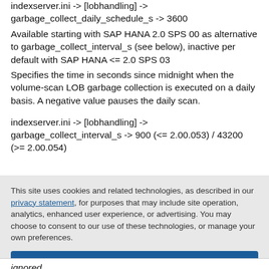indexserver.ini -> [lobhandling] -> garbage_collect_daily_schedule_s -> 3600
Available starting with SAP HANA 2.0 SPS 00 as alternative to garbage_collect_interval_s (see below), inactive per default with SAP HANA <= 2.0 SPS 03
Specifies the time in seconds since midnight when the volume-scan LOB garbage collection is executed on a daily basis. A negative value pauses the daily scan.
indexserver.ini -> [lobhandling] -> garbage_collect_interval_s -> 900 (<= 2.00.053) / 43200 (>= 2.00.054)
This site uses cookies and related technologies, as described in our privacy statement, for purposes that may include site operation, analytics, enhanced user experience, or advertising. You may choose to consent to our use of these technologies, or manage your own preferences.
Accept Cookies
More Information
Privacy Policy | Powered by: TrustArc
ignored.